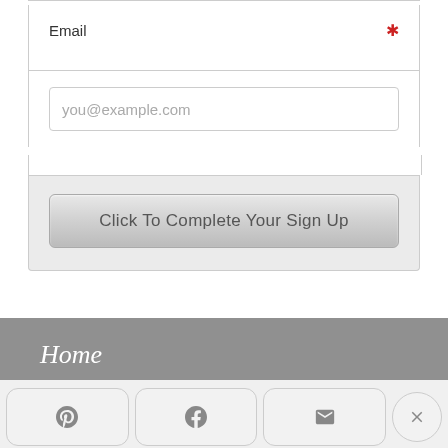Email *
you@example.com
Click To Complete Your Sign Up
Home
[Figure (screenshot): Social share bar at bottom with Pinterest, Facebook, email, and close (X) buttons]